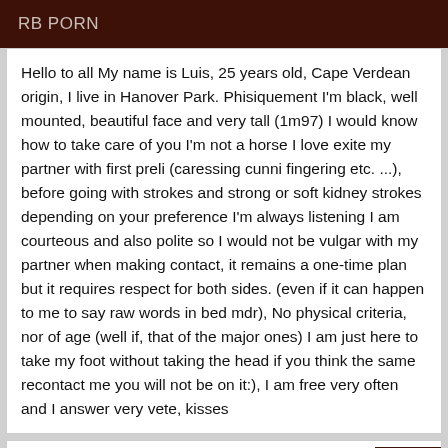RB PORN
Hello to all My name is Luis, 25 years old, Cape Verdean origin, I live in Hanover Park. Phisiquement I'm black, well mounted, beautiful face and very tall (1m97) I would know how to take care of you I'm not a horse I love exite my partner with first preli (caressing cunni fingering etc. ...), before going with strokes and strong or soft kidney strokes depending on your preference I'm always listening I am courteous and also polite so I would not be vulgar with my partner when making contact, it remains a one-time plan but it requires respect for both sides. (even if it can happen to me to say raw words in bed mdr), No physical criteria, nor of age (well if, that of the major ones) I am just here to take my foot without taking the head if you think the same recontact me you will not be on it:), I am free very often and I answer very vete, kisses
Online